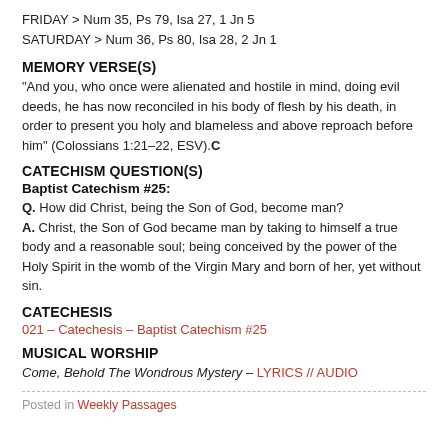FRIDAY > Num 35, Ps 79, Isa 27, 1 Jn 5
SATURDAY > Num 36, Ps 80, Isa 28, 2 Jn 1
MEMORY VERSE(S)
“And you, who once were alienated and hostile in mind, doing evil deeds, he has now reconciled in his body of flesh by his death, in order to present you holy and blameless and above reproach before him” (Colossians 1:21–22, ESV).C
CATECHISM QUESTION(S)
Baptist Catechism #25:
Q. How did Christ, being the Son of God, become man?
A. Christ, the Son of God became man by taking to himself a true body and a reasonable soul; being conceived by the power of the Holy Spirit in the womb of the Virgin Mary and born of her, yet without sin.
CATECHESIS
021 – Catechesis – Baptist Catechism #25
MUSICAL WORSHIP
Come, Behold The Wondrous Mystery – LYRICS // AUDIO
Posted in Weekly Passages